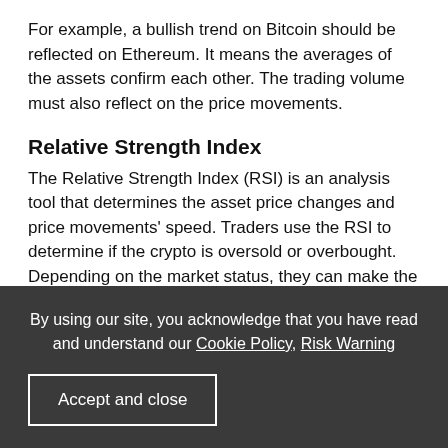For example, a bullish trend on Bitcoin should be reflected on Ethereum. It means the averages of the assets confirm each other. The trading volume must also reflect on the price movements.
Relative Strength Index
The Relative Strength Index (RSI) is an analysis tool that determines the asset price changes and price movements' speed. Traders use the RSI to determine if the crypto is oversold or overbought. Depending on the market status, they can make the purchase decision.
By using our site, you acknowledge that you have read and understand our Cookie Policy, Risk Warning
Accept and close